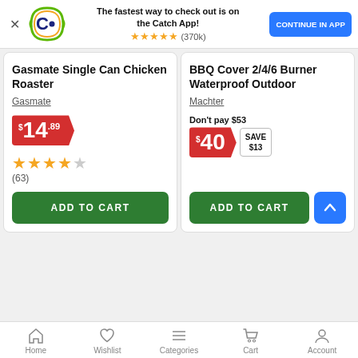[Figure (screenshot): Catch app promotional banner with logo, tagline, star rating, and Continue in App button]
Gasmate Single Can Chicken Roaster
Gasmate
$14.89
★★★★½ (63)
ADD TO CART
BBQ Cover 2/4/6 Burner Waterproof Outdoor
Machter
Don't pay $53
$40 SAVE $13
ADD TO CART
Home   Wishlist   Categories   Cart   Account